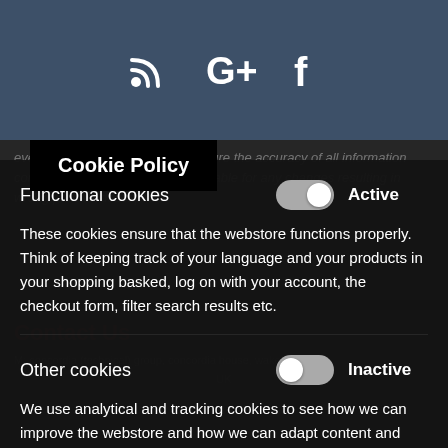[Figure (screenshot): Website header with RSS, Google+, and Facebook social icons on a dark blue-grey background]
Cookie Policy
Functional cookies Active
These cookies ensure that the webstore functions properly. Think of keeping track of your language and your products in your shopping basked, log on with your account, the checkout form, filter search results etc.
Other cookies Inactive
We use analytical and tracking cookies to see how we can improve the webstore and how we can adapt content and potential advertisements to your preference.
Save Settings